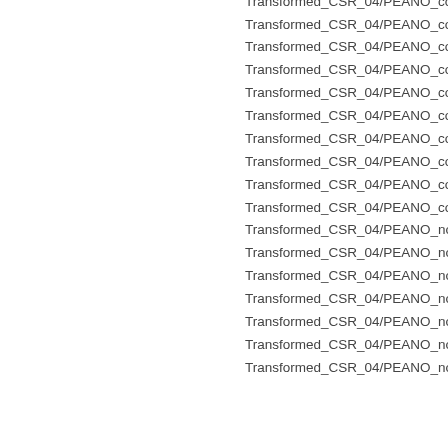Transformed_CSR_04/PEANO_comp
Transformed_CSR_04/PEANO_comp
Transformed_CSR_04/PEANO_comp
Transformed_CSR_04/PEANO_comp
Transformed_CSR_04/PEANO_comp
Transformed_CSR_04/PEANO_comp
Transformed_CSR_04/PEANO_comp
Transformed_CSR_04/PEANO_comp
Transformed_CSR_04/PEANO_comp
Transformed_CSR_04/PEANO_comp
Transformed_CSR_04/PEANO_nokin
Transformed_CSR_04/PEANO_nokin
Transformed_CSR_04/PEANO_nokin
Transformed_CSR_04/PEANO_nokin
Transformed_CSR_04/PEANO_nokin
Transformed_CSR_04/PEANO_nokin
Transformed_CSR_04/PEANO_noki